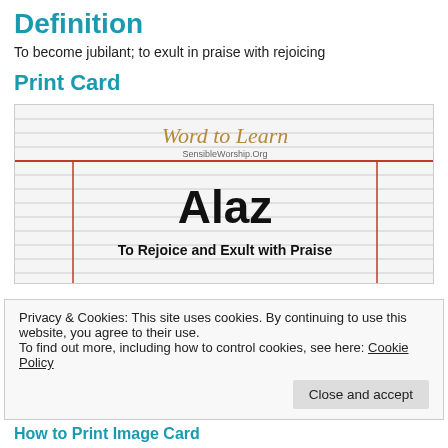Definition
To become jubilant; to exult in praise with rejoicing
Print Card
[Figure (illustration): A print card graphic styled like lined notebook paper with red margin lines. Contains the 'Word to Learn' logo in gold italic script, the URL SensibleWorship.Org, the word 'Alaz' in large bold black text, and subtitle 'To Rejoice and Exult with Praise'.]
Privacy & Cookies: This site uses cookies. By continuing to use this website, you agree to their use.
To find out more, including how to control cookies, see here: Cookie Policy
Close and accept
How to Print Image Card